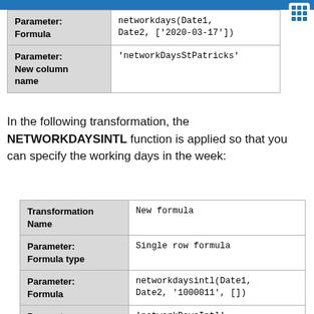| Parameter | Value |
| --- | --- |
| Parameter: Formula | networkdays(Date1, Date2, ['2020-03-17']) |
| Parameter: New column name | 'networkDaysStPatricks' |
In the following transformation, the NETWORKDAYSINTL function is applied so that you can specify the working days in the week:
| Parameter | Value |
| --- | --- |
| Transformation Name | New formula |
| Parameter: Formula type | Single row formula |
| Parameter: Formula | networkdaysintl(Date1, Date2, '1000011', []) |
| Parameter: | 'networkDaysIntl' |